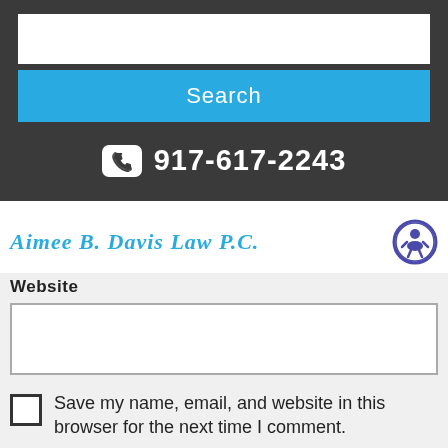[Figure (screenshot): Search input field (white) above a blue Search button in a dark background header]
Search
917-617-2243
Aimee B. Davis Law P.C.
Website
Save my name, email, and website in this browser for the next time I comment.